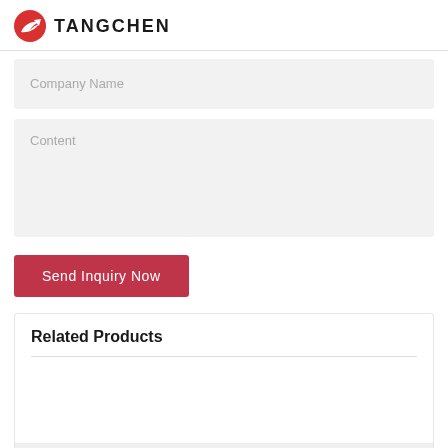[Figure (logo): Tangchen logo with red circular icon featuring a white arrow/bird design, followed by bold uppercase text TANGCHEN]
Company Name
Content
Send Inquiry Now
Related Products